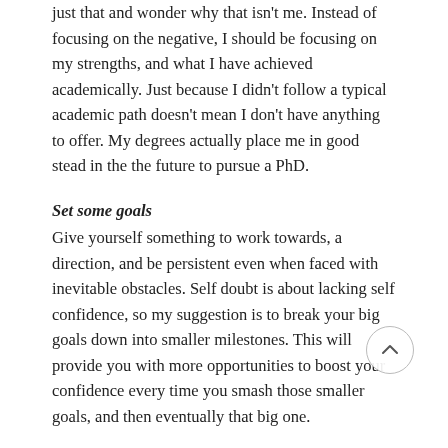just that and wonder why that isn't me. Instead of focusing on the negative, I should be focusing on my strengths, and what I have achieved academically. Just because I didn't follow a typical academic path doesn't mean I don't have anything to offer. My degrees actually place me in good stead in the the future to pursue a PhD.
Set some goals
Give yourself something to work towards, a direction, and be persistent even when faced with inevitable obstacles. Self doubt is about lacking self confidence, so my suggestion is to break your big goals down into smaller milestones. This will provide you with more opportunities to boost your confidence every time you smash those smaller goals, and then eventually that big one.
One of my big goals it to pursue the career